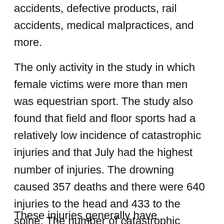accidents, defective products, rail accidents, medical malpractices, and more.
The only activity in the study in which female victims were more than men was equestrian sport. The study also found that field and floor sports had a relatively low incidence of catastrophic injuries and that July had the highest number of injuries. The drowning caused 357 deaths and there were 640 injuries to the head and 433 to the spine. The number of catastrophic injuries at the university is four times greater than in high school in the United States. Sport accounts for 5% to 10% of all cervical spinal and spinal cord injuries in the United States and 15% in Australia.
These injuries generally have permanent and life-